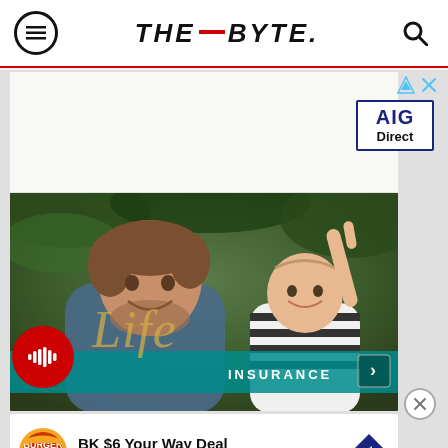THE_BYTE.
[Figure (photo): AIG Direct advertisement banner with logo box showing 'AIG Direct' in blue border]
[Figure (photo): Term Life Insurance advertisement photo showing smiling father holding baby with pointing finger, with 'Life' script overlay and teal TERM LIFE INSURANCE banner]
[Figure (photo): Burger King BK $6 Your Way Deal advertisement with Burger King logo, text 'BK $6 Your Way Deal' and 'Burger King' in blue, and a diamond-shaped navigation arrow]